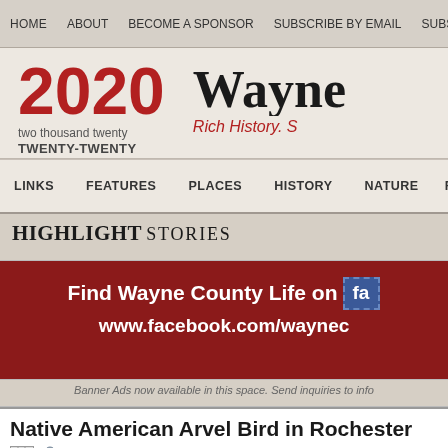HOME   ABOUT   BECOME A SPONSOR   SUBSCRIBE BY EMAIL   SUBS...
2020
two thousand twenty
TWENTY-TWENTY
Wayne... Rich History. S...
LINKS   FEATURES   PLACES   HISTORY   NATURE   RECREATION
HIGHLIGHT STORIES
[Figure (infographic): Dark red banner: Find Wayne County Life on Facebook (fa icon) www.facebook.com/waynec...]
Banner Ads now available in this space. Send inquiries to info...
Native American Arvel Bird in Rochester
SUBMITTED by Amy Blum (7-Mar-2011)
Two Hands-On Workshops by Native American Flutist...